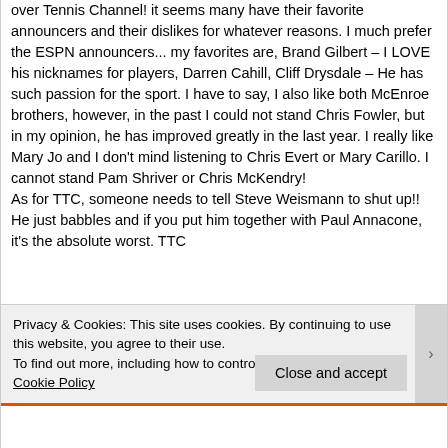over Tennis Channel! it seems many have their favorite announcers and their dislikes for whatever reasons. I much prefer the ESPN announcers... my favorites are, Brand Gilbert – I LOVE his nicknames for players, Darren Cahill, Cliff Drysdale – He has such passion for the sport. I have to say, I also like both McEnroe brothers, however, in the past I could not stand Chris Fowler, but in my opinion, he has improved greatly in the last year. I really like Mary Jo and I don't mind listening to Chris Evert or Mary Carillo. I cannot stand Pam Shriver or Chris McKendry!
As for TTC, someone needs to tell Steve Weismann to shut up!! He just babbles and if you put him together with Paul Annacone, it's the absolute worst. TTC
Privacy & Cookies: This site uses cookies. By continuing to use this website, you agree to their use.
To find out more, including how to control cookies, see here: Cookie Policy
Close and accept